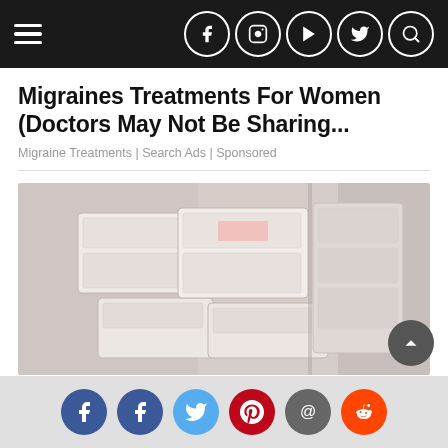Navigation bar with hamburger menu and social icons (Facebook, Instagram, YouTube, Twitter, Search)
Migraines Treatments For Women (Doctors May Not Be Sharing...
Migraine Treatments | Search Ads | Sponsored
[Figure (photo): Photo of stacked white storage boxes/crates in a vehicle or loading area]
High-Interest Savings Accounts That May Earn Americans Good...
Social sharing icons: Facebook, Facebook, Twitter, Pinterest, Email, Reddit